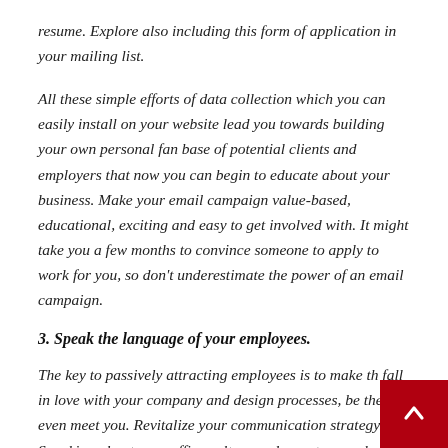resume. Explore also including this form of application in your mailing list.
All these simple efforts of data collection which you can easily install on your website lead you towards building your own personal fan base of potential clients and employers that now you can begin to educate about your business. Make your email campaign value-based, educational, exciting and easy to get involved with. It might take you a few months to convince someone to apply to work for you, so don't underestimate the power of an email campaign.
3. Speak the language of your employees.
The key to passively attracting employees is to make th fall in love with your company and design processes, be they even meet you. Revitalize your communication strategy. Speaking about your office culture and your team values will